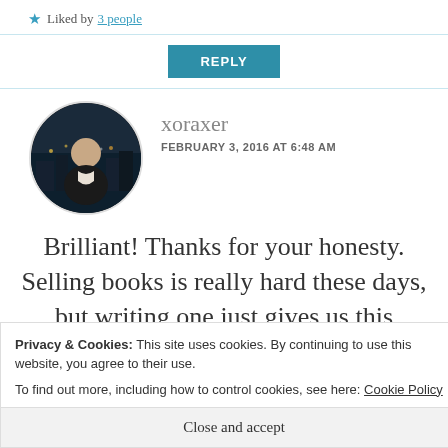★ Liked by 3 people
REPLY
[Figure (photo): Circular avatar photo of user xoraxer, man in dark jacket with city lights background at night]
xoraxer
FEBRUARY 3, 2016 AT 6:48 AM
Brilliant! Thanks for your honesty. Selling books is really hard these days, but writing one just gives us this
Privacy & Cookies: This site uses cookies. By continuing to use this website, you agree to their use.
To find out more, including how to control cookies, see here: Cookie Policy
Close and accept